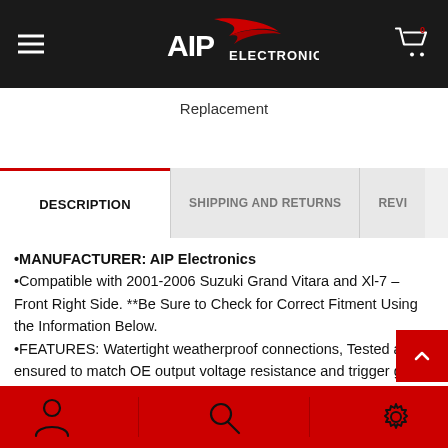AIP Electronics
Replacement
DESCRIPTION | SHIPPING AND RETURNS | REVI...
MANUFACTURER: AIP Electronics
Compatible with 2001-2006 Suzuki Grand Vitara and Xl-7 – Front Right Side. **Be Sure to Check for Correct Fitment Using the Information Below.
FEATURES: Watertight weatherproof connections, Tested and ensured to match OE output voltage resistance and trigger gap, glass reinforced plastic resin housing, specially engineered for reliability and protection